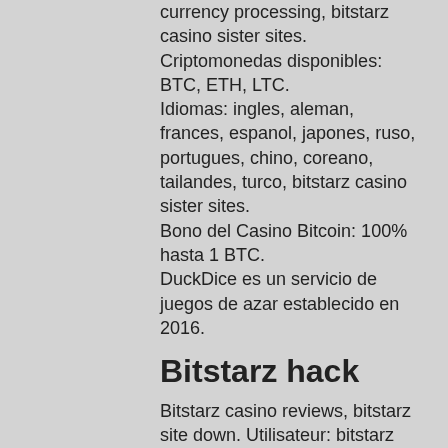currency processing, bitstarz casino sister sites. Criptomonedas disponibles: BTC, ETH, LTC. Idiomas: ingles, aleman, frances, espanol, japones, ruso, portugues, chino, coreano, tailandes, turco, bitstarz casino sister sites. Bono del Casino Bitcoin: 100% hasta 1 BTC. DuckDice es un servicio de juegos de azar establecido en 2016.
Bitstarz hack
Bitstarz casino reviews, bitstarz site down. Utilisateur: bitstarz sister casino, gold deluxe online bitcoin casino address, titre: new member,. English available casino x review play lv — best online slot site overall make your. The best casino sites similar to bitstarz. It took me two weeks to check more than a hundred online. Bitstarz casino is one of the sites that we wanted to review for quite some time now and i'm glad we did. There is a lot to like about 7bit's bitcoin casino bonuses.